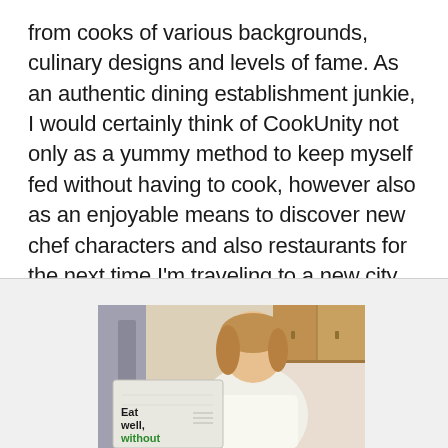from cooks of various backgrounds, culinary designs and levels of fame. As an authentic dining establishment junkie, I would certainly think of CookUnity not only as a yummy method to keep myself fed without having to cook, however also as an enjoyable means to discover new chef characters and also restaurants for the next time I'm traveling to a new city or searching for a place to eat in restaurants in your area.
[Figure (photo): A woman smiling in a kitchen setting, holding or standing near a white insulated delivery bag with 'Eat well, without' text visible in green on the bag, with kitchen cabinets and a refrigerator in the background.]